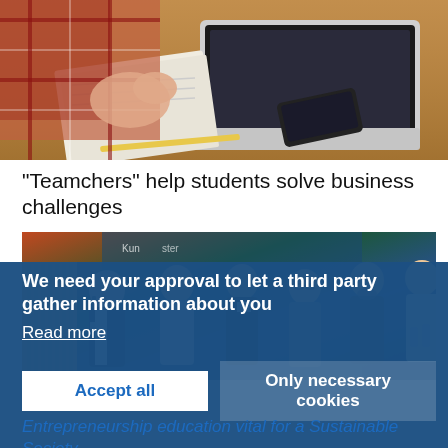[Figure (photo): Close-up of a person's hand on a desk with a laptop, notebook, and smartphone visible on a wooden table surface.]
“Teamchers” help students solve business challenges
[Figure (photo): Group photo of five people (three women, two men) standing together in front of a colorful projected screen background at an event.]
We need your approval to let a third party gather information about you
Read more
Accept all
Only necessary cookies
Entrepreneurship education vital for a Sustainable Society